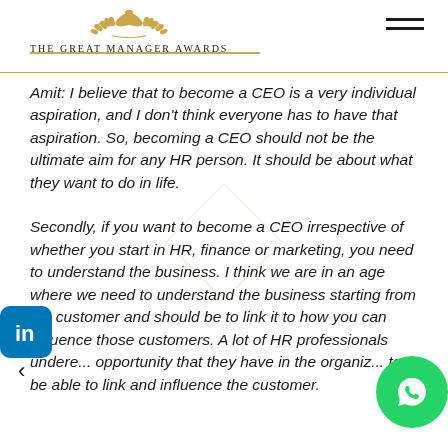THE GREAT MANAGER AWARDS
Amit: I believe that to become a CEO is a very individual aspiration, and I don't think everyone has to have that aspiration. So, becoming a CEO should not be the ultimate aim for any HR person. It should be about what they want to do in life.
Secondly, if you want to become a CEO irrespective of whether you start in HR, finance or marketing, you need to understand the business. I think we are in an age where we need to understand the business starting from the customer and should be to link it to how you can influence those customers. A lot of HR professionals undere... opportunity that they have in the organiz... to be able to link and influence the customer.